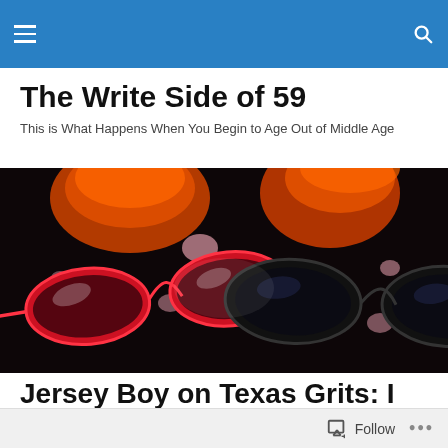The Write Side of 59 — navigation bar
The Write Side of 59
This is What Happens When You Begin to Age Out of Middle Age
[Figure (photo): Close-up photo of two pairs of reading glasses (red and black frames) on a dark surface with orange candles or glasses in the background, with bokeh light spots]
Jersey Boy on Texas Grits: I Tried Them. I Liked 'Em
Follow  •••